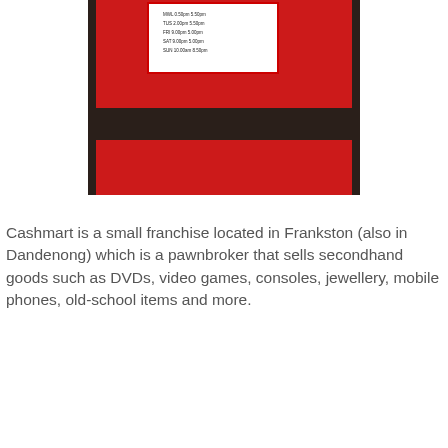[Figure (photo): A photo of a red door or panel with a dark horizontal bar/handle across the middle. A white sign with black text (pricing list) is visible at the top of the red surface, partially legible.]
Cashmart is a small franchise located in Frankston (also in Dandenong) which is a pawnbroker that sells secondhand goods such as DVDs, video games, consoles, jewellery, mobile phones, old-school items and more.